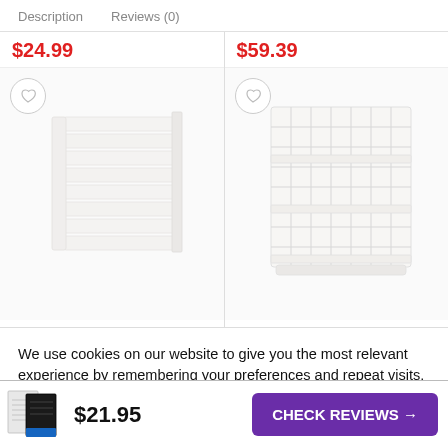Description    Reviews (0)
[Figure (photo): Left product: white multi-drawer paper tray organizer, price $24.99]
[Figure (photo): Right product: wire mesh letter tray basket organizer, price $59.39]
We use cookies on our website to give you the most relevant experience by remembering your preferences and repeat visits. By clicking “Accept”, you consent to the use of ALL the cookies.
Do not sell my personal information.
[Figure (photo): Small product thumbnail showing notebook/notepad with lined pages]
$21.95
CHECK REVIEWS →